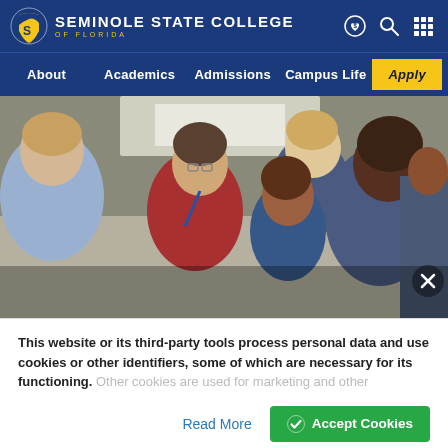SEMINOLE STATE COLLEGE OF FLORIDA
[Figure (screenshot): Seminole State College of Florida navigation header with logo, nav items (About, Academics, Admissions, Campus Life, Apply), and icons]
[Figure (photo): Group of college students gathered around looking at something together in a classroom or lab setting]
This website or its third-party tools process personal data and use cookies or other identifiers, some of which are necessary for its functioning. Other cookies are used for marketing and other
Read More
Accept Cookies